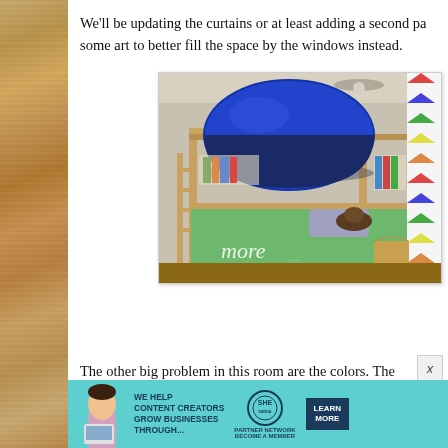We'll be updating the curtains or at least adding a second pa… some art to better fill the space by the windows instead.
[Figure (photo): A children's bunk bed with a blue tent canopy on top bunk. The lower bunk has colorful bedding. A colorful curtain is visible on the right side. Books are on a shelf attached to the bed. Text overlay reads 'more' in cursive.]
The other big problem in this room are the colors. The
[Figure (infographic): Advertisement banner: 'We Help Content Creators Grow Businesses Through...' with SHE Partner Network logo and 'Learn More / Become a Member' button. Teal background with a woman holding a laptop.]